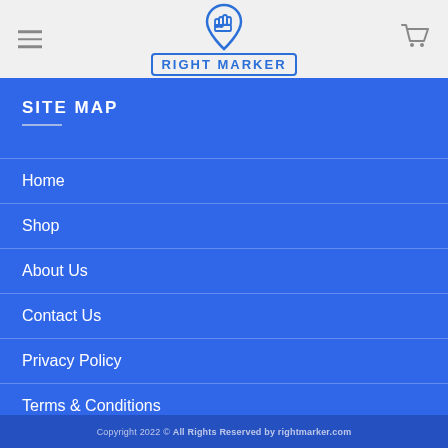RIGHT MARKER
SITE MAP
Home
Shop
About Us
Contact Us
Privacy Policy
Terms & Conditions
Copyright 2022 © All Rights Reserved by rightmarker.com